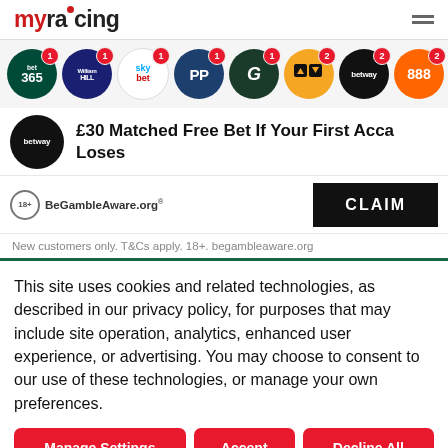myracing
[Figure (other): Row of bookmaker logos: bet365 (badge 1), William Hill (badge 1), Sky Bet (badge 1), Paddy Power (badge 1), GVC/Grosvenor (badge 1), Betfair (badge 2), Betway (badge 2), 888 (badge 2)]
£30 Matched Free Bet If Your First Acca Loses
[Figure (logo): BeGambleAware.org logo with 18+ circle icon]
CLAIM
New customers only. T&Cs apply. 18+. begambleaware.org
This site uses cookies and related technologies, as described in our privacy policy, for purposes that may include site operation, analytics, enhanced user experience, or advertising. You may choose to consent to our use of these technologies, or manage your own preferences.
Manage Settings | Accept | Decline All